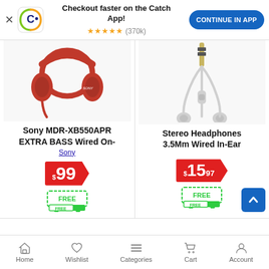[Figure (screenshot): App promotion banner with Catch.com.au logo, 'Checkout faster on the Catch App!' text, 5-star rating (370k reviews), and 'CONTINUE IN APP' blue button]
[Figure (photo): Red Sony MDR-XB550APR over-ear headphones on white background]
Sony MDR-XB550APR EXTRA BASS Wired On-
Sony
$99
[Figure (illustration): Green FREE delivery truck icon]
[Figure (photo): White stereo earphones with 3.5mm jack on white background]
Stereo Headphones 3.5Mm Wired In-Ear
$15.97
[Figure (illustration): Green FREE delivery truck icon]
Home  Wishlist  Categories  Cart  Account